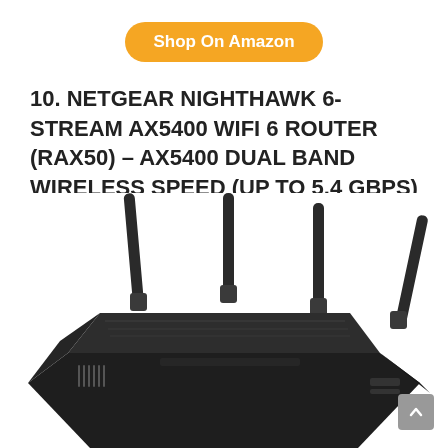Shop On Amazon
10. NETGEAR NIGHTHAWK 6-STREAM AX5400 WIFI 6 ROUTER (RAX50) – AX5400 DUAL BAND WIRELESS SPEED (UP TO 5.4 GBPS) - 2
[Figure (photo): NETGEAR Nighthawk WiFi 6 router with 4 antennas, dark grey/black color, viewed from front-top angle]